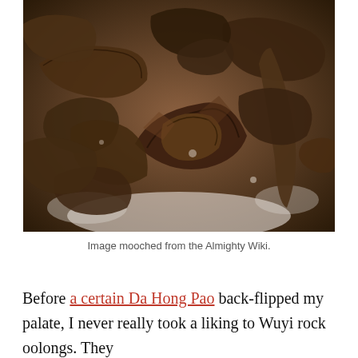[Figure (photo): Close-up macro photograph of dry Da Hong Pao oolong tea leaves, showing dark brown twisted and crinkled tea leaves on a white background.]
Image mooched from the Almighty Wiki.
Before a certain Da Hong Pao back-flipped my palate, I never really took a liking to Wuyi rock oolongs. They always tasted like...